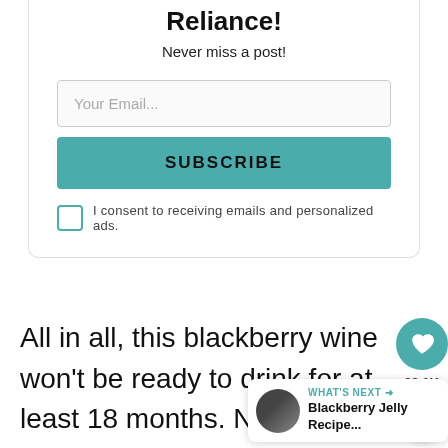Reliance!
Never miss a post!
Your Email...
SUBSCRIBE
I consent to receiving emails and personalized ads.
All in all, this blackberry wine won't be ready to drink for at least 18 months. Now I'm wishing I had made a 5-gallon batch...
22.1K
WHAT'S NEXT → Blackberry Jelly Recipe...